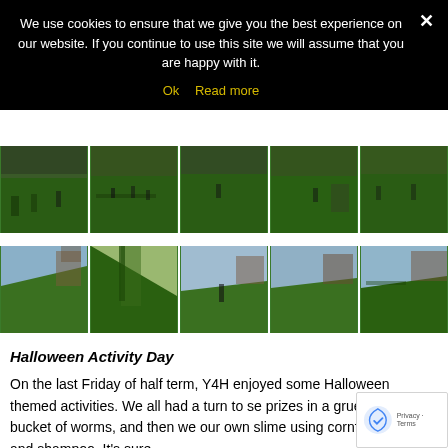We use cookies to ensure that we give you the best experience on our website. If you continue to use this site we will assume that you are happy with it.
Ok  Read more
[Figure (photo): Row of 5 outdoor photos showing children playing on a green field, autumn trees visible]
[Figure (photo): Row of 5 outdoor photos showing angled view of green field with cloudy sky and brick buildings]
Halloween Activity Day
On the last Friday of half term, Y4H enjoyed some Halloween themed activities. We all had a turn to se prizes in a gruesome bucket of worms, and then we our own slime using cornflour, water and shampoo. It's sure